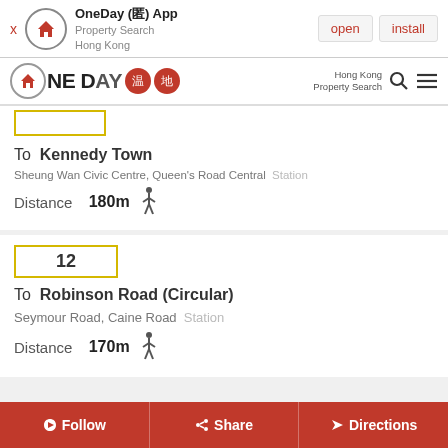[Figure (screenshot): App install banner for OneDay App - Property Search Hong Kong with open and install buttons]
[Figure (logo): OneDay Property Search Hong Kong navigation bar logo with Chinese characters and search/menu icons]
To Kennedy Town
Sheung Wan Civic Centre, Queen's Road Central Station
Distance 180m
12
To Robinson Road (Circular)
Seymour Road, Caine Road Station
Distance 170m
Follow Share Directions